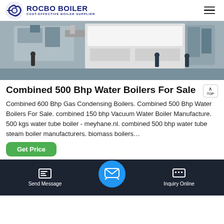ROCBO BOILER - COST-EFFECTIVE BOILER SUPPLIER
[Figure (photo): Industrial boiler installation site with workers and large metallic equipment outdoors on a wet concrete surface]
Combined 500 Bhp Water Boilers For Sale
Combined 600 Bhp Gas Condensing Boilers. Combined 500 Bhp Water Boilers For Sale. combined 150 bhp Vacuum Water Boiler Manufacture. 500 kgs water tube boiler - meyhane.nl. combined 500 bhp water tube steam boiler manufacturers. biomass boilers…
[Figure (screenshot): Get Price green button and bottom navigation bar with Send Message and Inquiry Online options]